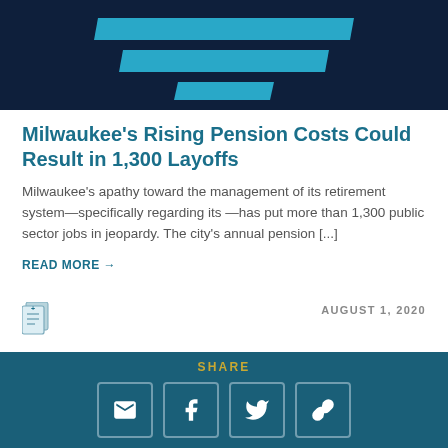[Figure (illustration): Dark navy background with three horizontal trapezoidal cyan/teal bars stacked vertically, decreasing in width from top to bottom, centered on the image.]
Milwaukee's Rising Pension Costs Could Result in 1,300 Layoffs
Milwaukee's apathy toward the management of its retirement system—specifically regarding its —has put more than 1,300 public sector jobs in jeopardy. The city's annual pension [...]
READ MORE →
AUGUST 1, 2020
What is a Hybrid Retirement Plan?
In a hybrid retirement plan, your employer provides access
SHARE